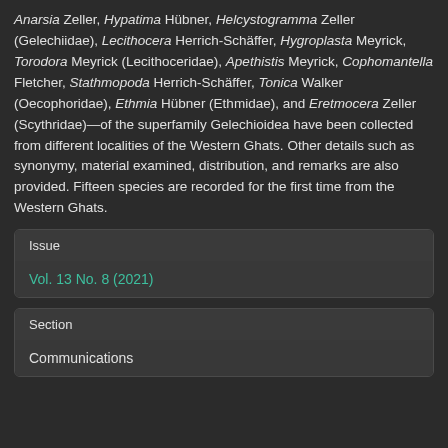Anarsia Zeller, Hypatima Hübner, Helcystogramma Zeller (Gelechiidae), Lecithocera Herrich-Schäffer, Hygroplasta Meyrick, Torodora Meyrick (Lecithoceridae), Apethistis Meyrick, Cophomantella Fletcher, Stathmopoda Herrich-Schäffer, Tonica Walker (Oecophoridae), Ethmia Hübner (Ethmidae), and Eretmocera Zeller (Scythridae)—of the superfamily Gelechioidea have been collected from different localities of the Western Ghats. Other details such as synonymy, material examined, distribution, and remarks are also provided. Fifteen species are recorded for the first time from the Western Ghats.
Issue
Vol. 13 No. 8 (2021)
Section
Communications